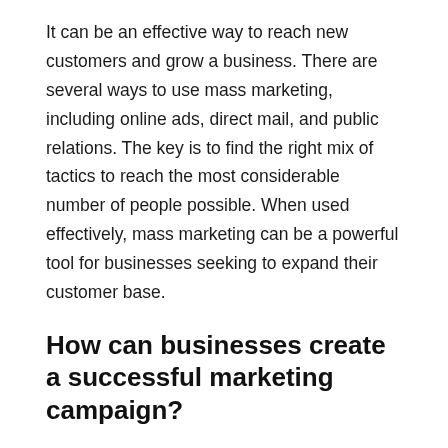It can be an effective way to reach new customers and grow a business. There are several ways to use mass marketing, including online ads, direct mail, and public relations. The key is to find the right mix of tactics to reach the most considerable number of people possible. When used effectively, mass marketing can be a powerful tool for businesses seeking to expand their customer base.
How can businesses create a successful marketing campaign?
A mass marketing campaign can be an excellent way for businesses to reach a large audience with